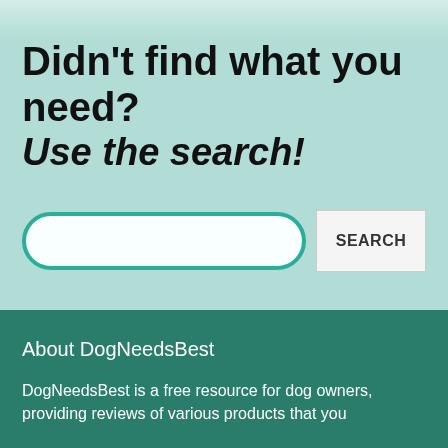[Figure (photo): Partial view of dogs at the top of the page]
Didn't find what you need?
Use the search!
[Figure (other): Search bar with teal rounded border and a SEARCH button]
About DogNeedsBest
DogNeedsBest is a free resource for dog owners, providing reviews of various products that you